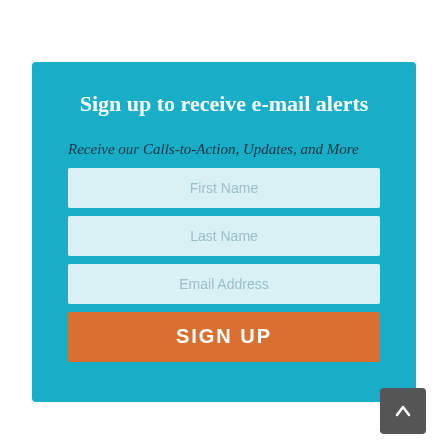Sign up to receive e-mail alerts
Receive our Calls-to-Action, Updates, and More
[Figure (screenshot): A web signup form with fields for First Name, Last Name, Email Address, and a SIGN UP button on a teal background.]
[Figure (other): A dark grey scroll-to-top button with an upward chevron arrow.]